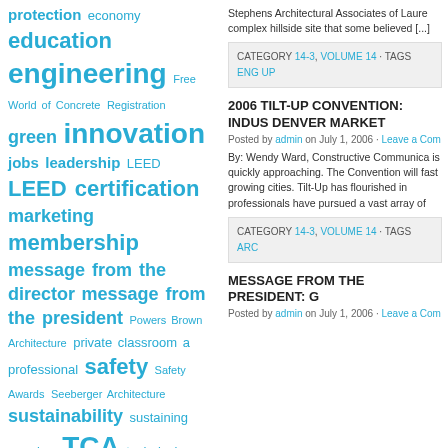protection economy education engineering Free World of Concrete Registration green innovation jobs leadership LEED LEED certification marketing membership message from the director message from the president Powers Brown Architecture private classroom a professional safety Safety Awards Seeberger Architecture sustainability sustaining member TCA technical technology tilt-up Tilt-Up Academy
Stephens Architectural Associates of Laure complex hillside site that some believed [...]
CATEGORY 14-3, VOLUME 14 · TAGS ENG UP
2006 TILT-UP CONVENTION: INDUS DENVER MARKET
Posted by admin on July 1, 2006 · Leave a Com
By: Wendy Ward, Constructive Communica is quickly approaching. The Convention will fast growing cities. Tilt-Up has flourished in professionals have pursued a vast array of
CATEGORY 14-3, VOLUME 14 · TAGS ARC
MESSAGE FROM THE PRESIDENT: G
Posted by admin on July 1, 2006 · Leave a Com